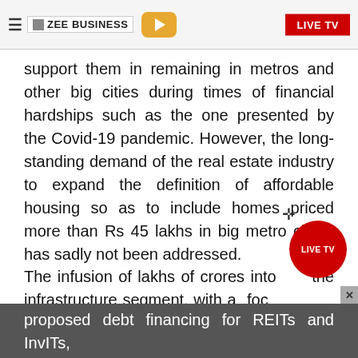ZEE BUSINESS | LIVE TV
support them in remaining in metros and other big cities during times of financial hardships such as the one presented by the Covid-19 pandemic. However, the long-standing demand of the real estate industry to expand the definition of affordable housing so as to include homes priced more than Rs 45 lakhs in big metro cities, has sadly not been addressed.
The infusion of lakhs of crores into the infrastructure segment, with a focus on improving connectivity, will be particularly beneficial for India's housing sector. The proposed debt financing for REITs and InvITs, and the setting up of the Development Financial